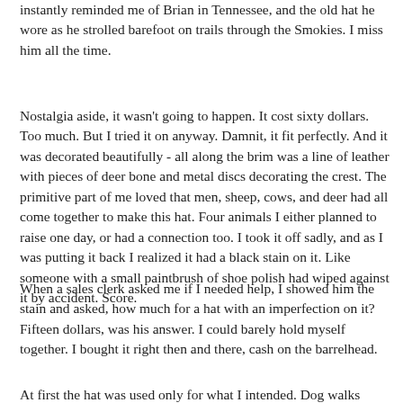instantly reminded me of Brian in Tennessee, and the old hat he wore as he strolled barefoot on trails through the Smokies. I miss him all the time.
Nostalgia aside, it wasn't going to happen. It cost sixty dollars. Too much. But I tried it on anyway. Damnit, it fit perfectly. And it was decorated beautifully - all along the brim was a line of leather with pieces of deer bone and metal discs decorating the crest. The primitive part of me loved that men, sheep, cows, and deer had all come together to make this hat. Four animals I either planned to raise one day, or had a connection too. I took it off sadly, and as I was putting it back I realized it had a black stain on it. Like someone with a small paintbrush of shoe polish had wiped against it by accident. Score.
When a sales clerk asked me if I needed help, I showed him the stain and asked, how much for a hat with an imperfection on it? Fifteen dollars, was his answer. I could barely hold myself together. I bought it right then and there, cash on the barrelhead.
At first the hat was used only for what I intended. Dog walks